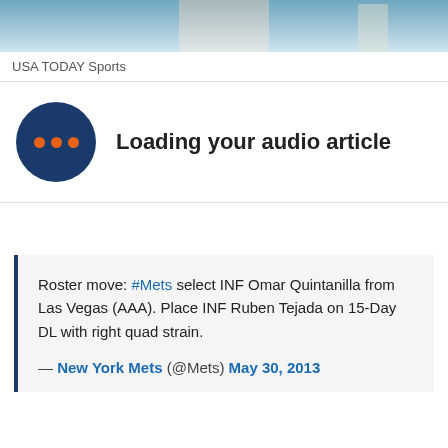[Figure (photo): Partial photo of a baseball player in a Mets uniform at the top of the page]
USA TODAY Sports
Loading your audio article
Roster move: #Mets select INF Omar Quintanilla from Las Vegas (AAA). Place INF Ruben Tejada on 15-Day DL with right quad strain.
— New York Mets (@Mets) May 30, 2013